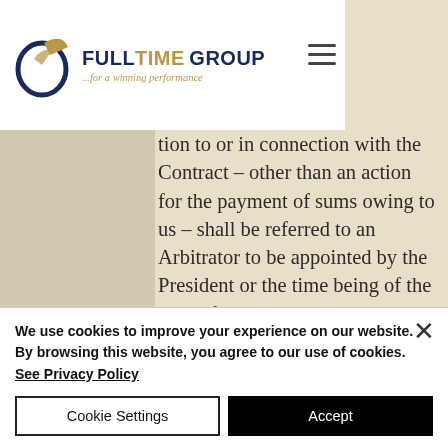Full Time Group — ...for a winning performance
tion to or in connection with the Contract – other than an action for the payment of sums owing to us – shall be referred to an Arbitrator to be appointed by the President or the time being of the Law of Society and the submission shall be deemed to be a submission within the meaning of the Arbitration Act 1996 or any statutory re-enactment thereof for
We use cookies to improve your experience on our website. By browsing this website, you agree to our use of cookies. See Privacy Policy
Cookie Settings
Accept